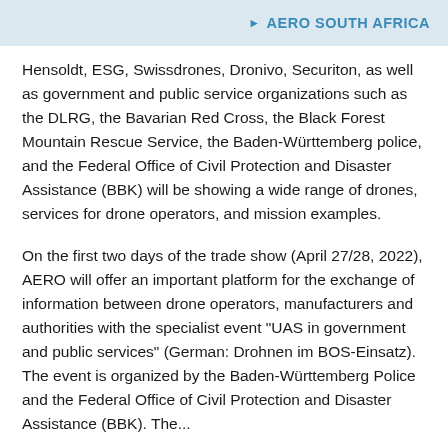▶ AERO SOUTH AFRICA
Hensoldt, ESG, Swissdrones, Dronivo, Securiton, as well as government and public service organizations such as the DLRG, the Bavarian Red Cross, the Black Forest Mountain Rescue Service, the Baden-Württemberg police, and the Federal Office of Civil Protection and Disaster Assistance (BBK) will be showing a wide range of drones, services for drone operators, and mission examples.
On the first two days of the trade show (April 27/28, 2022), AERO will offer an important platform for the exchange of information between drone operators, manufacturers and authorities with the specialist event "UAS in government and public services" (German: Drohnen im BOS-Einsatz). The event is organized by the Baden-Württemberg Police and the Federal Office of Civil Protection and Disaster Assistance (BBK). The...